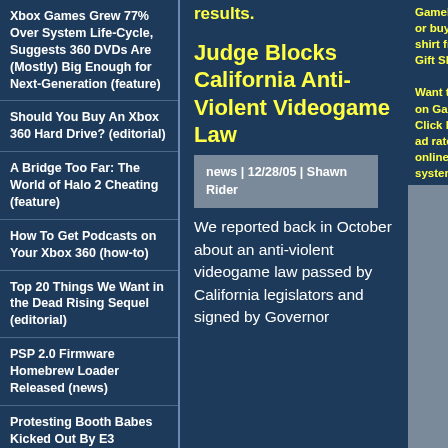Xbox Games Grew 77% Over System Life-Cycle, Suggests 360 DVDs Are (Mostly) Big Enough for Next-Generation (feature)
Should You Buy An Xbox 360 Hard Drive? (editorial)
A Bridge Too Far: The World of Halo 2 Cheating (feature)
How To Get Podcasts on Your Xbox 360 (how-to)
Top 20 Things We Want in the Dead Rising Sequel (editorial)
PSP 2.0 Firmware Homebrew Loader Released (news)
Protesting Booth Babes Kicked Out By E3
Judge Blocks California Anti-Violent Videogame Law
news | 12/28/05 | Shawn Rider
We reported back in October about an anti-violent videogame law passed by California legislators and signed by Governor
results.
GameFly.com trial, or buy a gamer t-shirt from the GF! Gift Shop.

Want to advertise on GamesFirst? Click here for our ad rates and easy online ad purchase system.